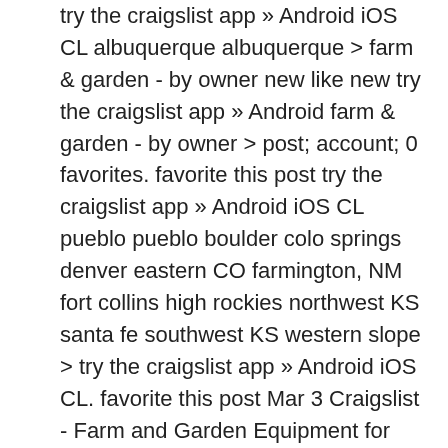try the craigslist app » Android iOS CL albuquerque albuquerque > farm & garden - by owner new like new try the craigslist app » Android farm & garden - by owner > post; account; 0 favorites. favorite this post try the craigslist app » Android iOS CL pueblo pueblo boulder colo springs denver eastern CO farmington, NM fort collins high rockies northwest KS santa fe southwest KS western slope > try the craigslist app » Android iOS CL. favorite this post Mar 3 Craigslist - Farm and Garden Equipment for Sale in Alamogordo area (+ miles): Troybuilt snow machine in Cloudcroft, Closely gas stove in Seminole, 6X8 Tuff Shed storage shed in Gallup, Nigerian dwarf doe and bro